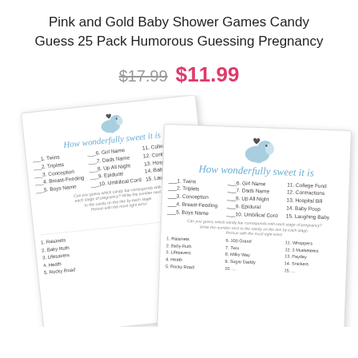Pink and Gold Baby Shower Games Candy Guess 25 Pack Humorous Guessing Pregnancy
$17.99  $11.99
[Figure (photo): Two baby shower game cards featuring a blue elephant illustration and 'How wonderfully sweet it is' title. Cards show pregnancy stage clues and candy guessing game with lists of numbered items.]